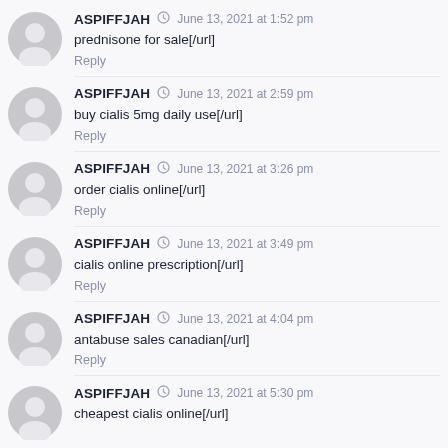ASPIFFJAH June 13, 2021 at 1:52 pm — prednisone for sale[/url] — Reply
ASPIFFJAH June 13, 2021 at 2:59 pm — buy cialis 5mg daily use[/url] — Reply
ASPIFFJAH June 13, 2021 at 3:26 pm — order cialis online[/url] — Reply
ASPIFFJAH June 13, 2021 at 3:49 pm — cialis online prescription[/url] — Reply
ASPIFFJAH June 13, 2021 at 4:04 pm — antabuse sales canadian[/url] — Reply
ASPIFFJAH June 13, 2021 at 5:30 pm — cheapest cialis online[/url]